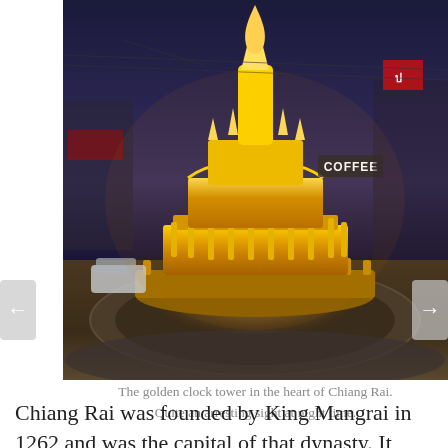[Figure (photo): Night photograph of the golden clock tower roundabout in Chiang Rai, Thailand. The monument is an ornate multi-tiered golden Thai-style structure illuminated brilliantly at night, set in the middle of a traffic roundabout. Urban street signs and storefronts including a coffee shop are visible in the background against a twilight sky. A car is visible to the left.]
The golden clock tower in the heart of Chiang Rai. Quite an arresting sight at night time.
Chiang Rai was founded by King Mangrai in 1262 and was the capital of that dynasty. It